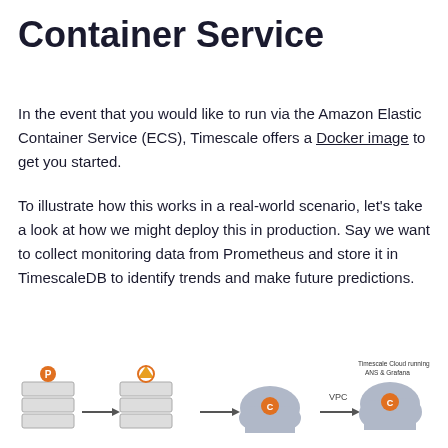Container Service
In the event that you would like to run via the Amazon Elastic Container Service (ECS), Timescale offers a Docker image to get you started.
To illustrate how this works in a real-world scenario, let's take a look at how we might deploy this in production. Say we want to collect monitoring data from Prometheus and store it in TimescaleDB to identify trends and make future predictions.
Here is an overview of what this setup would look like:
[Figure (infographic): Architecture diagram showing servers/icons connected by arrows, with a cloud icon labeled with Timescale Cloud running ANS & Grafana, and a VPC label, partially cropped at bottom of page.]